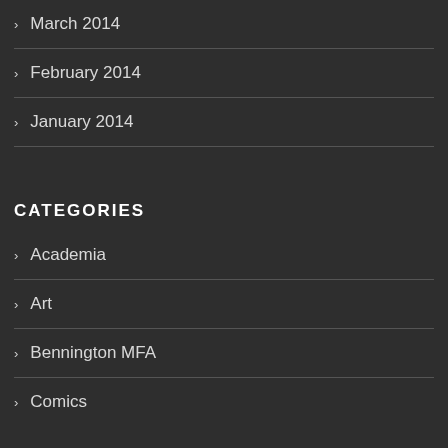March 2014
February 2014
January 2014
CATEGORIES
Academia
Art
Bennington MFA
Comics